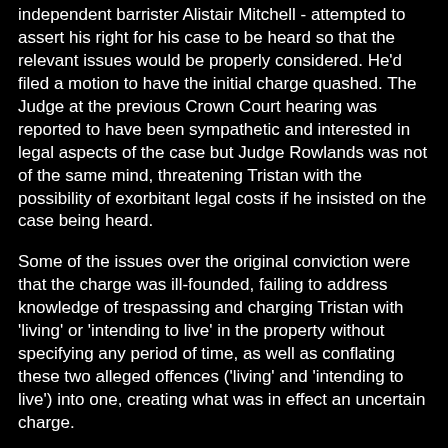independent barrister Alistair Mitchell - attempted to assert his right for his case to be heard so that the relevant issues would be properly considered. He'd filed a motion to have the initial charge quashed. The Judge at the previous Crown Court hearing was reported to have been sympathetic and interested in legal aspects of the case but Judge Rowlands was not of the same mind, threatening Tristan with the possibility of exorbitant legal costs if he insisted on the case being heard.
Some of the issues over the original conviction were that the charge was ill-founded, failing to address knowledge of trespassing and charging Tristan with 'living' or 'intending to live' in the property without specifying any period of time, as well as conflating these two alleged offences ('living' and 'intending to live') into one, creating what was in effect an uncertain charge.
In the end, Tristan settled for an acquittal rather than insist on a full hearing with its associated cost risks, then came outside with his barrister to join the protest on the court concourse for another hour or so.
How to resist
In order to achieve convictions under s 144, the prosecution